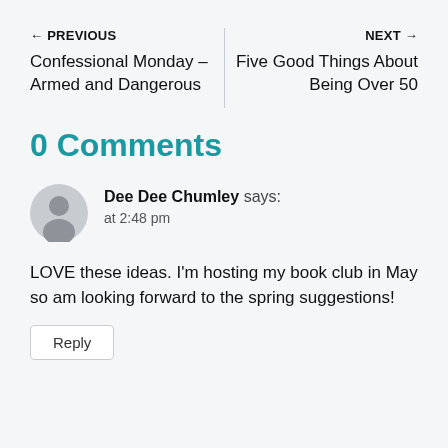← PREVIOUS
Confessional Monday – Armed and Dangerous
NEXT →
Five Good Things About Being Over 50
0 Comments
Dee Dee Chumley says:
at 2:48 pm
LOVE these ideas. I'm hosting my book club in May so am looking forward to the spring suggestions!
Reply